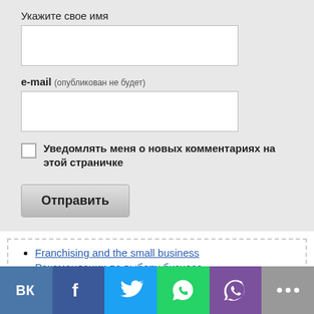Укажите свое имя
e-mail (опубликован не будет)
Уведомлять меня о новых комментариях на этой страничке
Отправить
Franchising and the small business
Рекомендации по выбору бизнеса
Строительное оборудование МСД
Тепловые насосы
Enterprise and Small Business Principles
Franchising and the small business